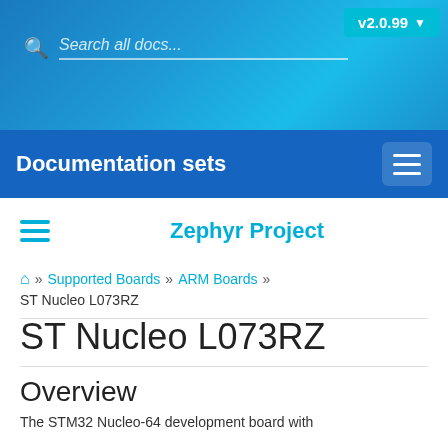Search all docs... v2.0.99
Documentation sets
Zephyr Project
🏠 » Supported Boards » ARM Boards » ST Nucleo L073RZ
ST Nucleo L073RZ
Overview
The STM32 Nucleo-64 development board with